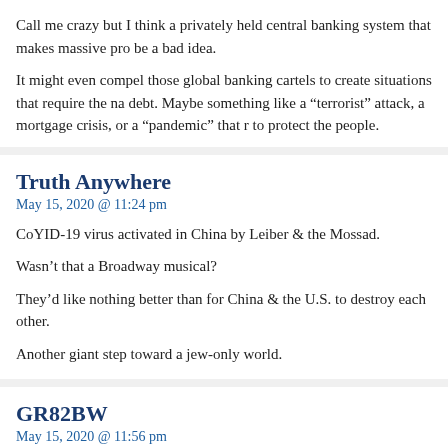Call me crazy but I think a privately held central banking system that makes massive pro be a bad idea.
It might even compel those global banking cartels to create situations that require the na debt. Maybe something like a “terrorist” attack, a mortgage crisis, or a “pandemic” that r to protect the people.
Truth Anywhere
May 15, 2020 @ 11:24 pm
CoYID-19 virus activated in China by Leiber & the Mossad.
Wasn’t that a Broadway musical?
They’d like nothing better than for China & the U.S. to destroy each other.
Another giant step toward a jew-only world.
GR82BW
May 15, 2020 @ 11:56 pm
This may seem like I’m breaking ranks, but maybe someone can explain this.
I am white. I was curious at one point if I might have had a jewish ancestor. So I called a